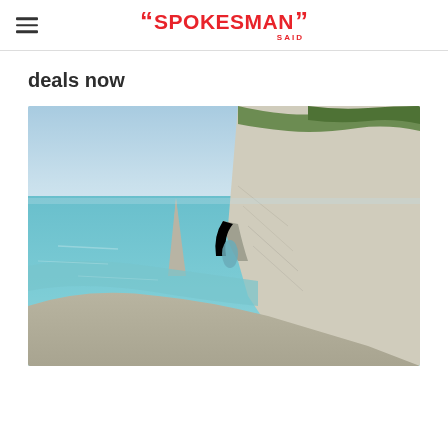A Spokesman Said
deals now
[Figure (photo): Aerial coastal landscape showing white chalk cliffs with a natural arch and a tall sea stack rising from turquoise water. A pebble beach curves along the base of the cliffs, with green vegetation on top. Likely Étretat, Normandy, France.]